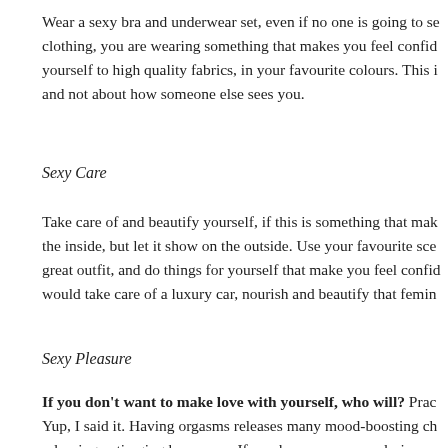Wear a sexy bra and underwear set, even if no one is going to see it. Under your clothing, you are wearing something that makes you feel confident. Treat yourself to high quality fabrics, in your favourite colours. This is about how you feel and not about how someone else sees you.
Sexy Care
Take care of and beautify yourself, if this is something that makes you feel sexy on the inside, but let it show on the outside. Use your favourite scent, put together a great outfit, and do things for yourself that make you feel confident. Just as you would take care of a luxury car, nourish and beautify that femin...
Sexy Pleasure
If you don't want to make love with yourself, who will? Prac... Yup, I said it. Having orgasms releases many mood-boosting ch... releasing anti-aging hormones. If you know your own desires a... communicate them to your partner, and in turn, have a more sati...